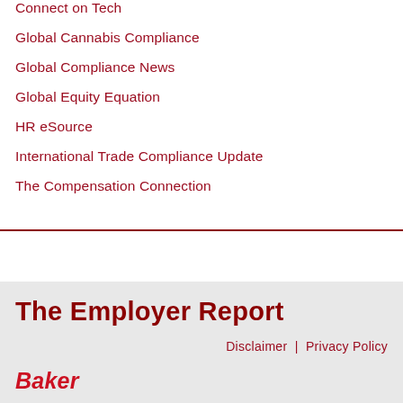Connect on Tech
Global Cannabis Compliance
Global Compliance News
Global Equity Equation
HR eSource
International Trade Compliance Update
The Compensation Connection
The Employer Report
Disclaimer  |  Privacy Policy
Baker